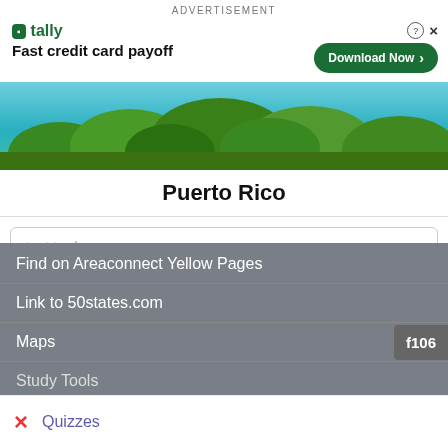[Figure (other): Tally advertisement banner with logo, tagline 'Fast credit card payoff', Download Now button, and close/help controls]
[Figure (photo): Landscape photo of Puerto Rico showing tropical forest and turquoise sky]
Puerto Rico
test tools
Find on Areaconnect Yellow Pages
Link to 50states.com
Maps
Study Tools
Quizzes
f106